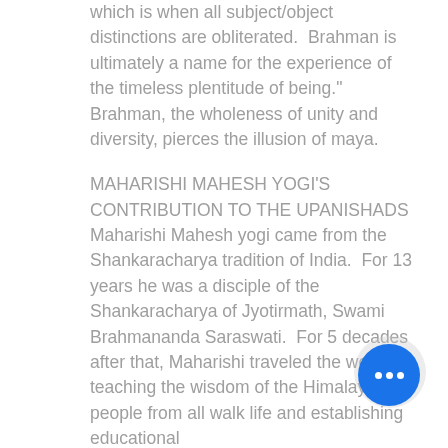which is when all subject/object distinctions are obliterated.  Brahman is ultimately a name for the experience of the timeless plentitude of being." Brahman, the wholeness of unity and diversity, pierces the illusion of maya.
MAHARISHI MAHESH YOGI'S CONTRIBUTION TO THE UPANISHADS
Maharishi Mahesh yogi came from the Shankaracharya tradition of India.  For 13 years he was a disciple of the Shankaracharya of Jyotirmath, Swami Brahmananda Saraswati.  For 5 decades after that, Maharishi traveled the world, teaching the wisdom of the Himalayas to people from all walks of life and establishing educational institutions.